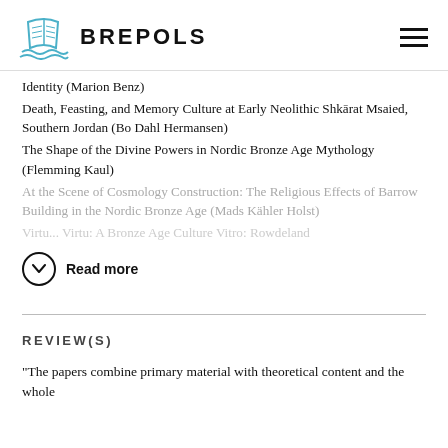BREPOLS
Identity (Marion Benz)
Death, Feasting, and Memory Culture at Early Neolithic Shkārat Msaied, Southern Jordan (Bo Dahl Hermansen)
The Shape of the Divine Powers in Nordic Bronze Age Mythology (Flemming Kaul)
At the Scene of Cosmology Construction: The Religious Effects of Barrow Building in the Nordic Bronze Age (Mads Kähler Holst)
Read more
REVIEW(S)
'The papers combine primary material with theoretical content and the whole